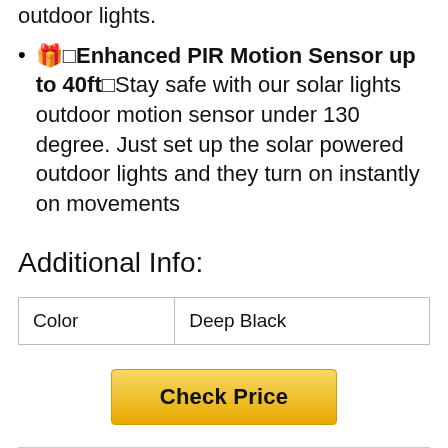outdoor lights.
🎁□Enhanced PIR Motion Sensor up to 40ft□Stay safe with our solar lights outdoor motion sensor under 130 degree. Just set up the solar powered outdoor lights and they turn on instantly on movements
Additional Info:
| Color | Deep Black |
| --- | --- |
| Color | Deep Black |
Check Price